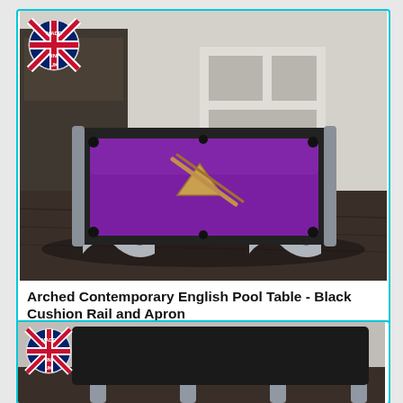[Figure (photo): Arched contemporary English pool table with purple felt, black cushion rail and apron, silver arched legs, in a modern room. UK 'Made in UK' badge overlaid top-left.]
Arched Contemporary English Pool Table - Black Cushion Rail and Apron
View
[Figure (photo): Partial view of another pool table product with chrome/steel legs, with UK 'Made in UK' badge overlaid top-left.]